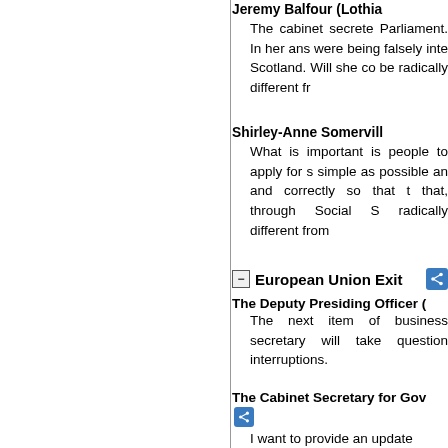Jeremy Balfour (Lothia... The cabinet secrete... Parliament. In her ans... were being falsely inte... Scotland. Will she co... be radically different fr...
Shirley-Anne Somervill... What is important is... people to apply for s... simple as possible an... and correctly so that t... that, through Social S... radically different from...
European Union Exit
The Deputy Presiding Officer (... The next item of business... secretary will take questions... interruptions.
The Cabinet Secretary for Gov... I want to provide an update...